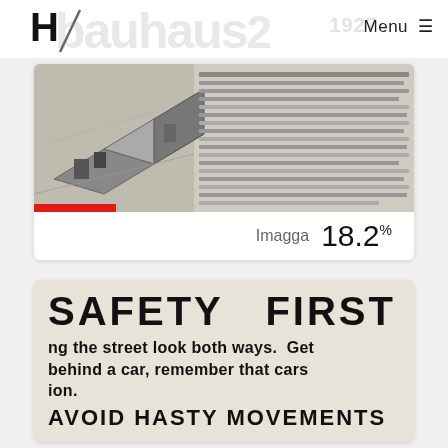bauhaus 2 — Menu
[Figure (photo): Scanned Bauhaus document page showing an architectural axonometric drawing of a modernist building on the left, with dense German text columns on the right. A red horizontal bar appears at the bottom left of the image.]
Imagga   18.2%
[Figure (photo): Cropped vintage safety poster with bold black text on cream/beige background reading 'SAFETY FIRST' and partial text 'ng the street look both ways. Get behind a car, remember that cars ion.' and 'AVOID HASTY MOVEMENTS']